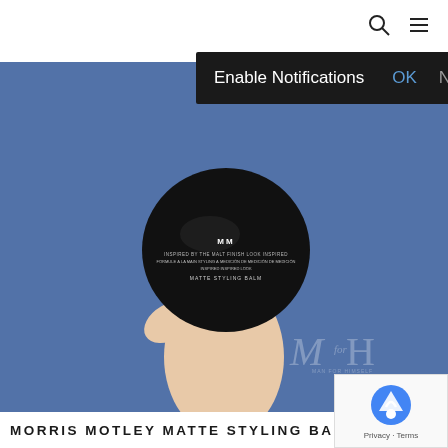[Figure (logo): M for H magazine logo — stylized M italic with 'for' in small text, and H serif letter]
[Figure (screenshot): Dark notification bar overlay reading 'Enable Notifications  OK  No thanks']
[Figure (photo): A hand holding a round black tin of Morris Motley hair styling balm against a blue background. The tin shows 'MM' branding and product text on top.]
MORRIS MOTLEY MATTE STYLING BALM